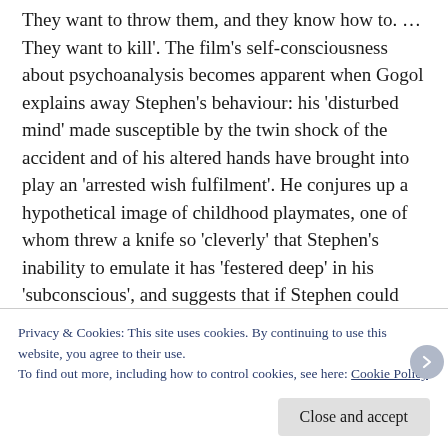They want to throw them, and they know how to. … They want to kill'. The film's self-consciousness about psychoanalysis becomes apparent when Gogol explains away Stephen's behaviour: his 'disturbed mind' made susceptible by the twin shock of the accident and of his altered hands have brought into play an 'arrested wish fulfilment'. He conjures up a hypothetical image of childhood playmates, one of whom threw a knife so 'cleverly' that Stephen's inability to emulate it has 'festered deep' in his 'subconscious', and suggests that if Stephen could 'bring that forgotten memory, whatever it is, into consciousness' he 'would be cured instantly'. The
Privacy & Cookies: This site uses cookies. By continuing to use this website, you agree to their use.
To find out more, including how to control cookies, see here: Cookie Policy
Close and accept